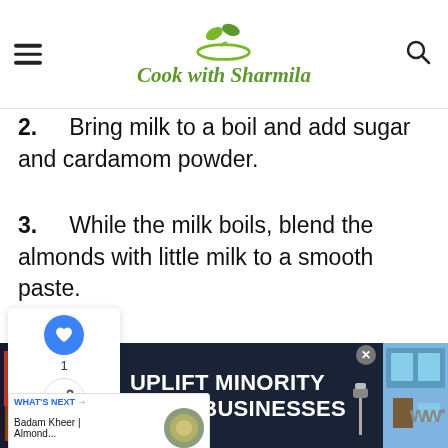Cook with Sharmila
2.   Bring milk to a boil and add sugar and cardamom powder.
3.   While the milk boils, blend the almonds with little milk to a smooth paste.
4.   Add this to the boiling milk along with Saffron Strands.
[Figure (infographic): Advertisement banner: UPLIFT MINORITY OWNED BUSINESSES with storefront imagery on dark blue background]